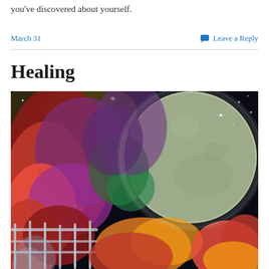you've discovered about yourself.
March 31
Leave a Reply
Healing
[Figure (photo): A fantasy/artistic composite image featuring vibrant autumn leaves in red, purple, and orange cascading over a railing, set against a dark night sky with a large luminous moon and star sparkles in the background.]